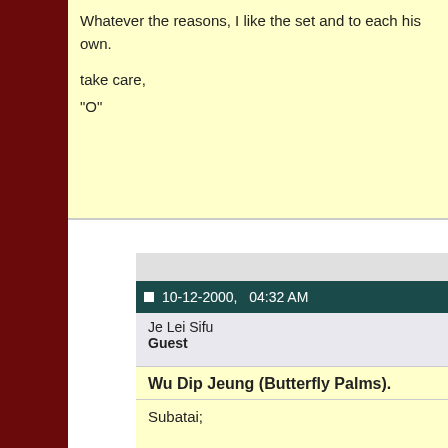Whatever the reasons, I like the set and to each his own.

take care,
"O"
10-12-2000,   04:32 AM
Je Lei Sifu
Guest
Wu Dip Jeung (Butterfly Palms).
Subatai;

I have heard the same... that this set was created by Chui Kau and am not sure. Although I have not seen any other branch, but those perform that set, it is hard to say what is true with the present distu I am from the Tang Fung Hung Ga Family and we do not perform th references to who created what.

MoiFah;

The Butterfly palm technique is a common technique which is used of southern gung fu. However this technique is not flowery, but it is trained correctly.